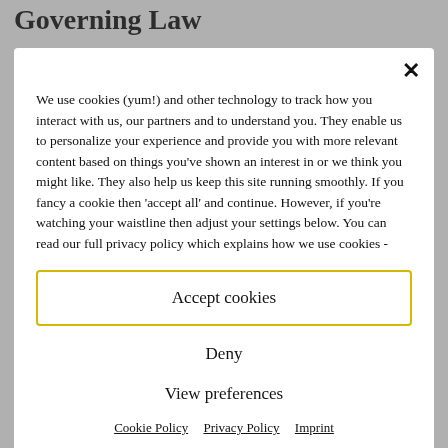Governing Law
We use cookies (yum!) and other technology to track how you interact with us, our partners and to understand you. They enable us to personalize your experience and provide you with more relevant content based on things you've shown an interest in or we think you might like. They also help us keep this site running smoothly. If you fancy a cookie then 'accept all' and continue. However, if you're watching your waistline then adjust your settings below. You can read our full privacy policy which explains how we use cookies -
Accept cookies
Deny
View preferences
Cookie Policy   Privacy Policy   Imprint
Amendments